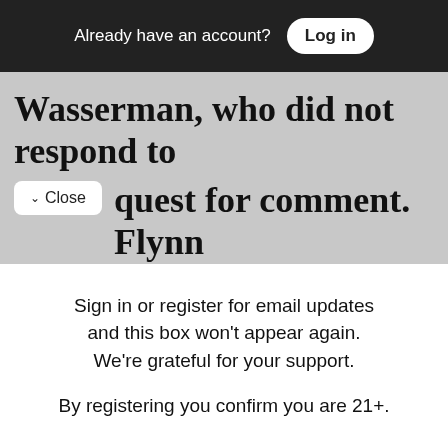Already have an account? Log in
Wasserman, who did not respond to quest for comment. Flynn
✓ Close
Sign in or register for email updates and this box won't appear again. We're grateful for your support.
By registering you confirm you are 21+.
Free Newsletters 5
East Bay Express Newsletter